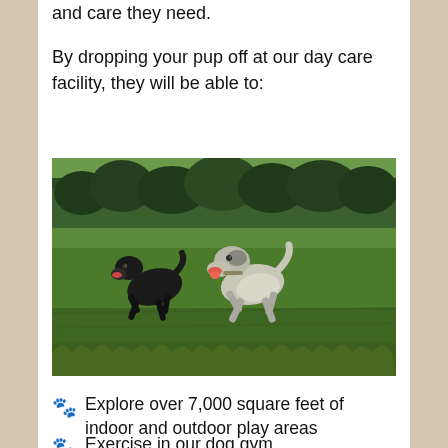and care they need.
By dropping your pup off at our day care facility, they will be able to:
[Figure (photo): Two dogs running in a green field with trees in the background — a black dog and a grey/white dog, mouths open, mid-stride.]
Explore over 7,000 square feet of indoor and outdoor play areas
Exercise in our dog gym